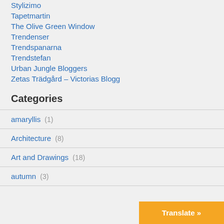Stylizimo
Tapetmartin
The Olive Green Window
Trendenser
Trendspanarna
Trendstefan
Urban Jungle Bloggers
Zetas Trädgård – Victorias Blogg
Categories
amaryllis (1)
Architecture (8)
Art and Drawings (18)
autumn (3)